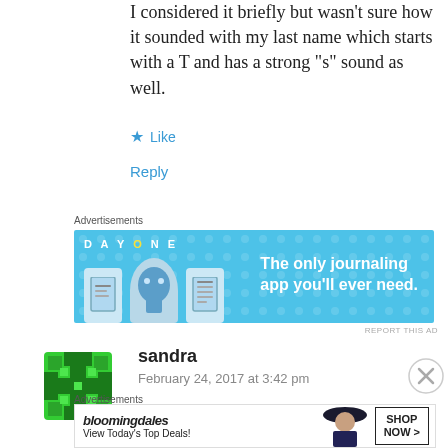I considered it briefly but wasn't sure how it sounded with my last name which starts with a T and has a strong “s” sound as well.
★ Like
Reply
Advertisements
[Figure (screenshot): DayOne journaling app advertisement: blue banner with icons and text 'The only journaling app you'll ever need.']
REPORT THIS AD
sandra
February 24, 2017 at 3:42 pm
Advertisements
[Figure (screenshot): Bloomingdale's advertisement: 'View Today’s Top Deals!' with a woman in a hat and SHOP NOW > button]